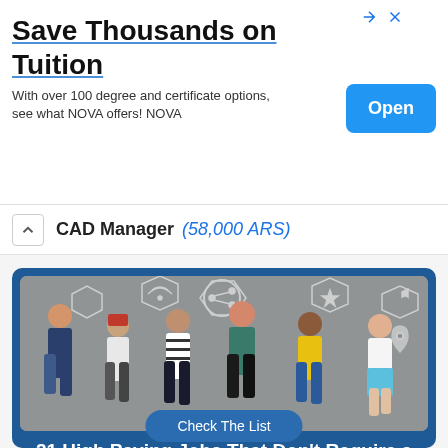[Figure (screenshot): Advertisement banner for NOVA college with 'Save Thousands on Tuition' heading and blue Open button]
Save Thousands on Tuition
With over 100 degree and certificate options, see what NOVA offers! NOVA
CAD Manager (58,000 ARS)
[Figure (photo): Six young people standing against a concrete wall looking at their smartphones, with social media icons overlaid]
21 High Paying Jobs That Don't Require a College Degree!